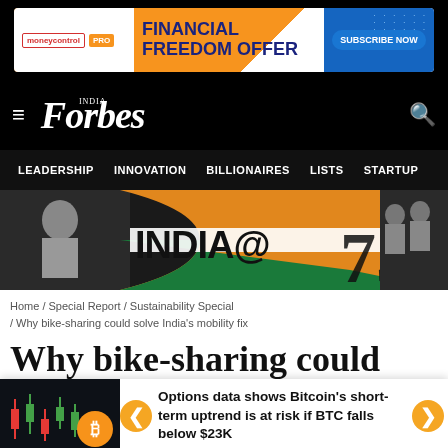[Figure (screenshot): Moneycontrol PRO advertisement banner: FINANCIAL FREEDOM OFFER with SUBSCRIBE NOW button]
Forbes India
LEADERSHIP INNOVATION BILLIONAIRES LISTS STARTUP
[Figure (photo): India@75 promotional banner with black and white photos of people and Indian flag colors in orange, white and green]
Home / Special Report / Sustainability Special / Why bike-sharing could solve India's mobility fix
Why bike-sharing could
Options data shows Bitcoin's short-term uptrend is at risk if BTC falls below $23K